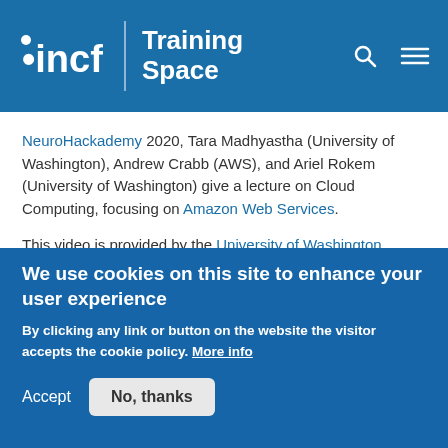incf | Training Space
NeuroHackademy 2020, Tara Madhyastha (University of Washington), Andrew Crabb (AWS), and Ariel Rokem (University of Washington) give a lecture on Cloud Computing, focusing on Amazon Web Services.

This video is provided by the University of Washington eScience Institute.
Difficulty level:   Beginner
We use cookies on this site to enhance your user experience
By clicking any link or button on the website the visitor accepts the cookie policy. More info
Accept   No, thanks